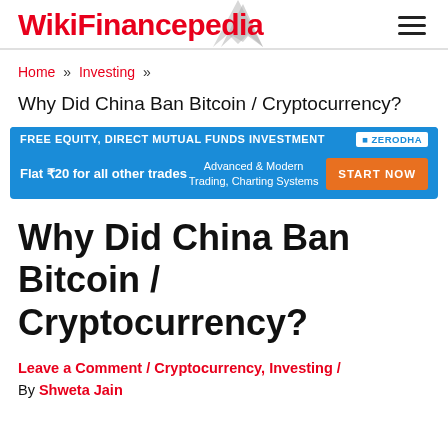WikiFinancepedia
Home » Investing »
Why Did China Ban Bitcoin / Cryptocurrency?
[Figure (other): Zerodha advertisement banner: FREE EQUITY, DIRECT MUTUAL FUNDS INVESTMENT | ZERODHA. Flat ₹20 for all other trades. Advanced & Modern Trading, Charting Systems. START NOW button.]
Why Did China Ban Bitcoin / Cryptocurrency?
Leave a Comment / Cryptocurrency, Investing / By Shweta Jain